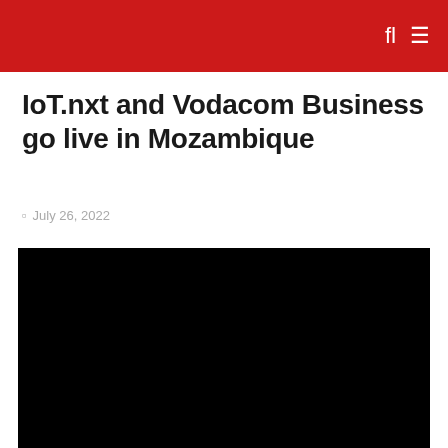IoT.nxt and Vodacom Business go live in Mozambique
July 26, 2022
[Figure (other): Black video player embed area]